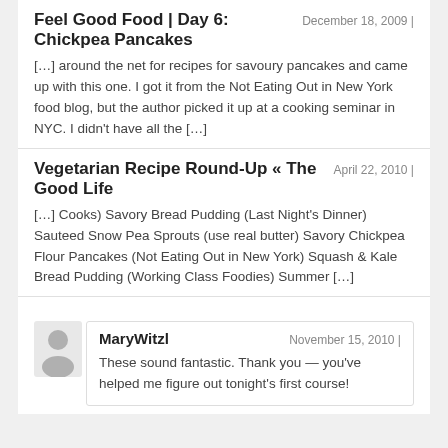Feel Good Food | Day 6: Chickpea Pancakes
December 18, 2009 |
[…] around the net for recipes for savoury pancakes and came up with this one. I got it from the Not Eating Out in New York food blog, but the author picked it up at a cooking seminar in NYC. I didn't have all the […]
Vegetarian Recipe Round-Up « The Good Life
April 22, 2010 |
[…] Cooks) Savory Bread Pudding (Last Night's Dinner) Sauteed Snow Pea Sprouts (use real butter) Savory Chickpea Flour Pancakes (Not Eating Out in New York) Squash & Kale Bread Pudding (Working Class Foodies) Summer […]
[Figure (illustration): Gray user avatar icon]
MaryWitzl
November 15, 2010 |
These sound fantastic. Thank you — you've helped me figure out tonight's first course!